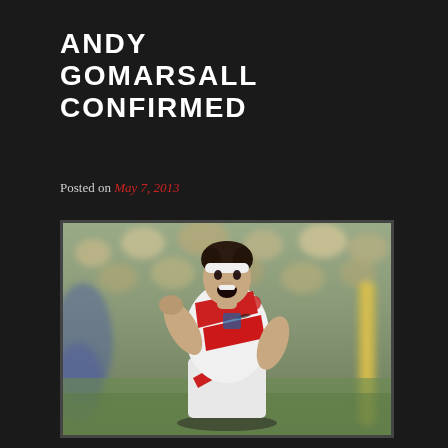ANDY GOMARSALL CONFIRMED
Posted on May 7, 2013
[Figure (photo): Rugby player Andy Gomarsall in England white and red kit, wearing a white headband, celebrating with mouth open and fist raised, at a rugby stadium with blurred crowd in background.]